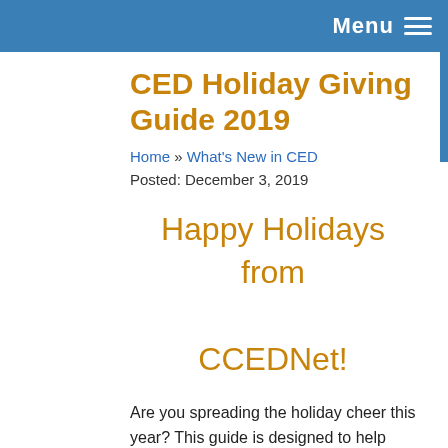Menu ≡
CED Holiday Giving Guide 2019
Home » What's New in CED
Posted: December 3, 2019
Happy Holidays from CCEDNet!
Are you spreading the holiday cheer this year? This guide is designed to help extend the reach of that cheer by encouraging thoughtful buying and giving that supports sustainability and positively impacts